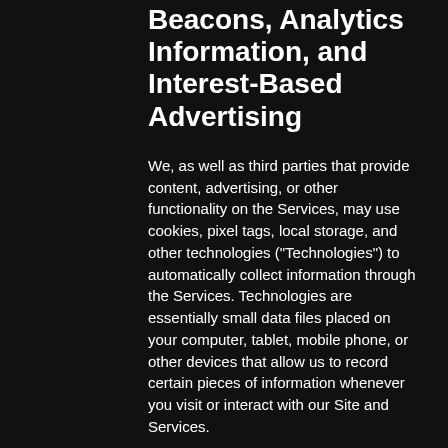Beacons, Analytics Information, and Interest-Based Advertising
We, as well as third parties that provide content, advertising, or other functionality on the Services, may use cookies, pixel tags, local storage, and other technologies ("Technologies") to automatically collect information through the Services. Technologies are essentially small data files placed on your computer, tablet, mobile phone, or other devices that allow us to record certain pieces of information whenever you visit or interact with our Site and Services.
Cookies. Cookies are small text files placed in visitors' computer browsers to store their preferences. Most browsers allow you to block and delete cookies. However, if you turn cookies off, some of the features that make your site experience more